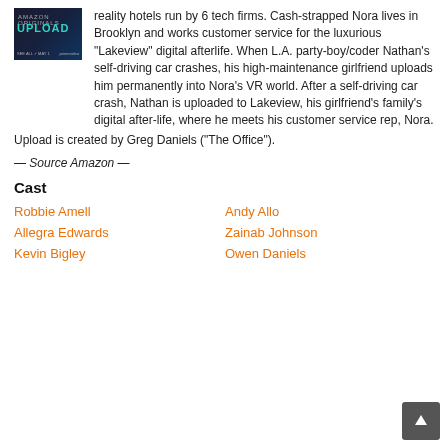[Figure (illustration): Upload TV show poster — Amazon Originals branding with teal 'UPLOAD' logo text on dark background]
reality hotels run by 6 tech firms. Cash-strapped Nora lives in Brooklyn and works customer service for the luxurious "Lakeview" digital afterlife. When L.A. party-boy/coder Nathan's self-driving car crashes, his high-maintenance girlfriend uploads him permanently into Nora's VR world. After a self-driving car crash, Nathan is uploaded to Lakeview, his girlfriend's family's digital after-life, where he meets his customer service rep, Nora.
Upload is created by Greg Daniels ("The Office").
— Source Amazon —
Cast
Robbie Amell
Andy Allo
Allegra Edwards
Zainab Johnson
Kevin Bigley
Owen Daniels